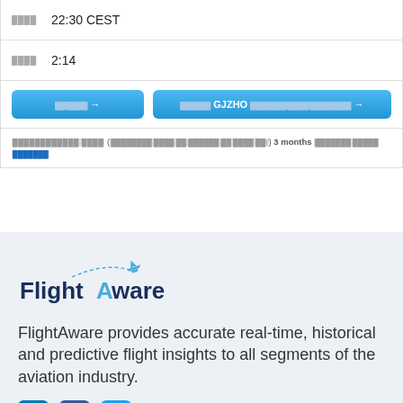| ████ | 22:30 CEST |
| ████ | 2:14 |
[Figure (screenshot): Two blue buttons: one shorter button and one wider button labeled 'GJZHO' with garbled text]
████████████ ████ (████████ ████ ██:██████ ██ ████ ██!) 3 months ███████ █████ ███████
[Figure (logo): FlightAware logo with airplane icon and dashed trail]
FlightAware provides accurate real-time, historical and predictive flight insights to all segments of the aviation industry.
[Figure (infographic): Social media icons: LinkedIn, Facebook, Twitter]